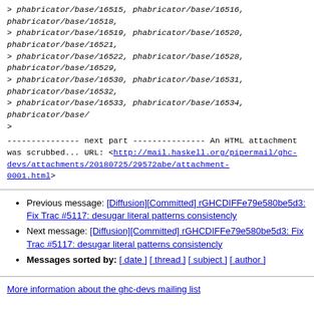> phabricator/base/16515, phabricator/base/16516, phabricator/base/16518,
> phabricator/base/16519, phabricator/base/16520, phabricator/base/16521,
> phabricator/base/16522, phabricator/base/16528, phabricator/base/16529,
> phabricator/base/16530, phabricator/base/16531, phabricator/base/16532,
> phabricator/base/16533, phabricator/base/16534, phabricator/base/
>
--------------- next part ---------------
An HTML attachment was scrubbed...
URL: <http://mail.haskell.org/pipermail/ghc-devs/attachments/20180725/29572abe/attachment-0001.html>
Previous message: [Diffusion][Committed] rGHCDIFFe79e580be5d3: Fix Trac #5117: desugar literal patterns consistencly
Next message: [Diffusion][Committed] rGHCDIFFe79e580be5d3: Fix Trac #5117: desugar literal patterns consistencly
Messages sorted by: [ date ] [ thread ] [ subject ] [ author ]
More information about the ghc-devs mailing list